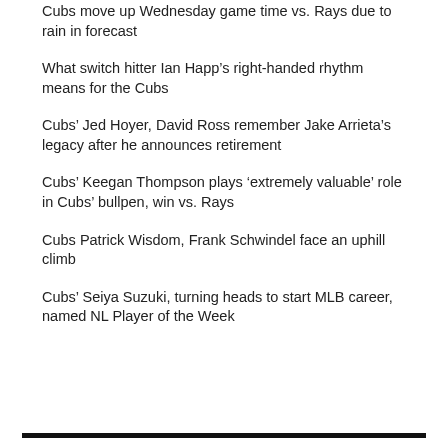Cubs move up Wednesday game time vs. Rays due to rain in forecast
What switch hitter Ian Happ’s right-handed rhythm means for the Cubs
Cubs’ Jed Hoyer, David Ross remember Jake Arrieta’s legacy after he announces retirement
Cubs’ Keegan Thompson plays ‘extremely valuable’ role in Cubs’ bullpen, win vs. Rays
Cubs Patrick Wisdom, Frank Schwindel face an uphill climb
Cubs’ Seiya Suzuki, turning heads to start MLB career, named NL Player of the Week